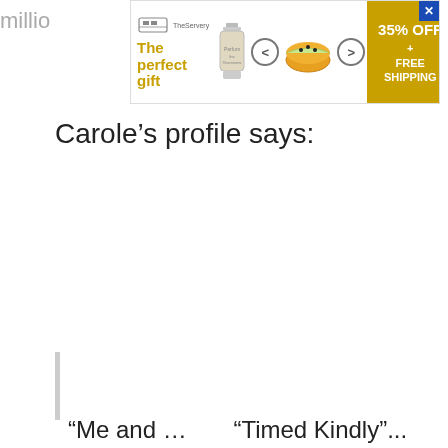millio
[Figure (screenshot): Advertisement banner for 'The perfect gift' showing a perfume bottle, food bowl, navigation arrows, and a gold CTA button reading '35% OFF + FREE SHIPPING'. A close button is in the top-right corner.]
Carole’s profile says:
“Me and ...   “Timed Kindly”...